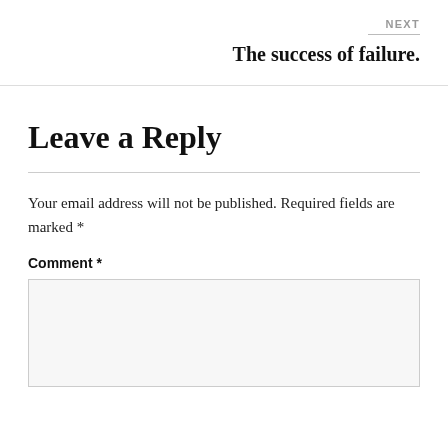NEXT
The success of failure.
Leave a Reply
Your email address will not be published. Required fields are marked *
Comment *